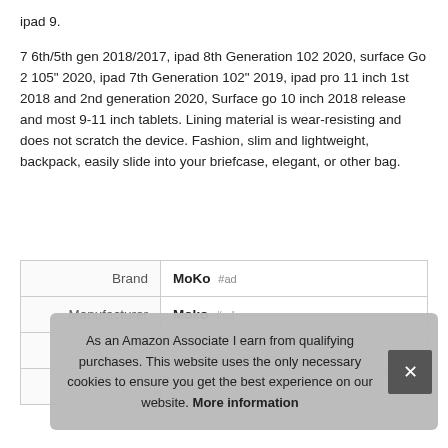ipad 9.
7 6th/5th gen 2018/2017, ipad 8th Generation 102 2020, surface Go 2 105" 2020, ipad 7th Generation 102" 2019, ipad pro 11 inch 1st 2018 and 2nd generation 2020, Surface go 10 inch 2018 release and most 9-11 inch tablets. Lining material is wear-resisting and does not scratch the device. Fashion, slim and lightweight, backpack, easily slide into your briefcase, elegant, or other bag.
|  |  |
| --- | --- |
| Brand | MoKo #ad |
| Manufacturer | Moko #ad |
| Width | 7.00 Inches |
As an Amazon Associate I earn from qualifying purchases. This website uses the only necessary cookies to ensure you get the best experience on our website. More information